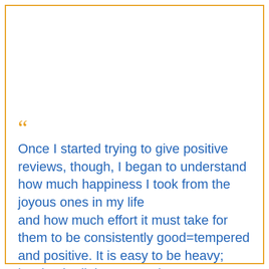“Once I started trying to give positive reviews, though, I began to understand how much happiness I took from the joyous ones in my life and how much effort it must take for them to be consistently good=tempered and positive. It is easy to be heavy; hard to be light. We nonjoyous types suck energy and cheer from the joyous ones; we rely on them to buoy us with their good spirit and to cushion our agitation and anxiety. At the same time, because of a dark element in human nature, we’re sometimes provoked to try to shake the enthusiastic, cheery folk out of their fog of illusion